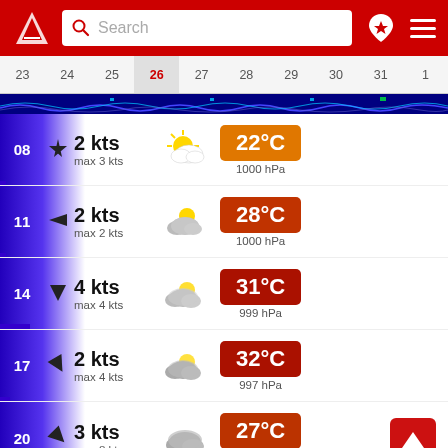Search bar with logo and navigation icons
[Figure (screenshot): Calendar date strip showing dates 23-31 and 1, with 26 highlighted in red on gray background]
[Figure (infographic): Wave/tide chart separator bar in dark blue]
08 | 2 kts, max 3 kts | partly sunny | 22°C | 1000 hPa
11 | 2 kts, max 2 kts | partly cloudy | 28°C | 1000 hPa
14 | 4 kts, max 4 kts | partly cloudy | 31°C | 999 hPa
17 | 2 kts, max 4 kts | partly sunny | 32°C | 997 hPa
20 | 3 kts, max 8 kts | cloudy | 27°C | 997 hPa